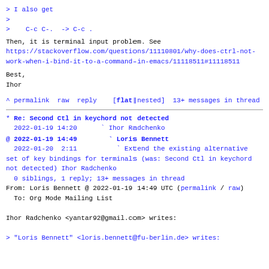> I also get
>
>   C-c C-.  -> C-c .
Then, it is terminal input problem. See https://stackoverflow.com/questions/11110801/why-does-ctrl-not-work-when-i-bind-it-to-a-command-in-emacs/11118511#11118511
Best,
Ihor
^ permalink raw reply   [flat|nested] 13+ messages in thread
* Re: Second Ctl in keychord not detected
  2022-01-19 14:20      ` Ihor Radchenko
@ 2022-01-19 14:49        ` Loris Bennett
  2022-01-20  2:11          ` Extend the existing alternative set of key bindings for terminals (was: Second Ctl in keychord not detected) Ihor Radchenko
  0 siblings, 1 reply; 13+ messages in thread
From: Loris Bennett @ 2022-01-19 14:49 UTC (permalink / raw)
  To: Org Mode Mailing List

Ihor Radchenko <yantar92@gmail.com> writes:

> "Loris Bennett" <loris.bennett@fu-berlin.de> writes: